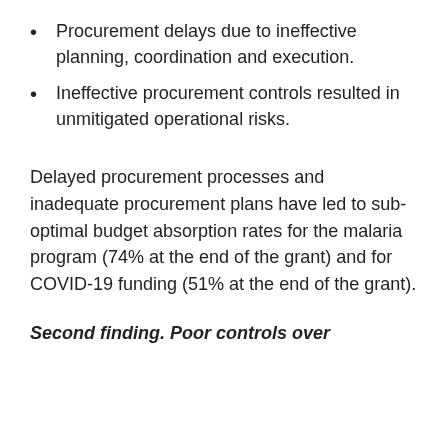Procurement delays due to ineffective planning, coordination and execution.
Ineffective procurement controls resulted in unmitigated operational risks.
Delayed procurement processes and inadequate procurement plans have led to sub-optimal budget absorption rates for the malaria program (74% at the end of the grant) and for COVID-19 funding (51% at the end of the grant).
Second finding. Poor controls over